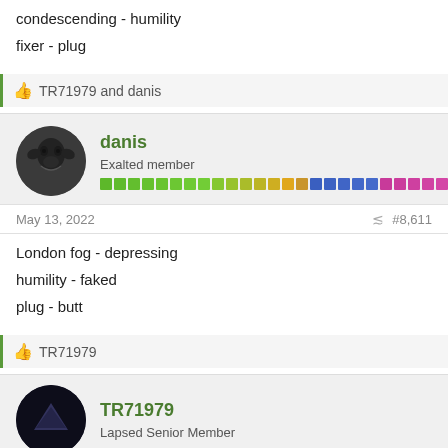condescending - humility
fixer - plug
👍 TR71979 and danis
danis
Exalted member
May 13, 2022  #8,611
London fog - depressing
humility - faked
plug - butt
👍 TR71979
TR71979
Lapsed Senior Member